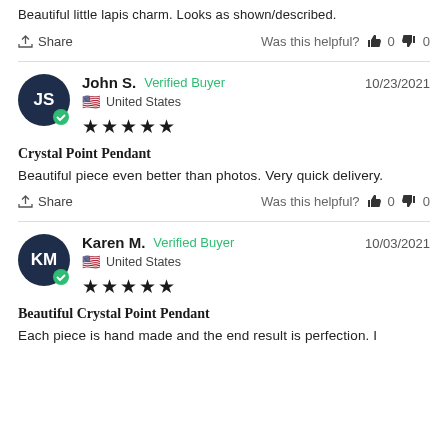Beautiful little lapis charm. Looks as shown/described.
Share   Was this helpful?  👍 0  👎 0
John S.  Verified Buyer   10/23/2021
United States
★★★★★
Crystal Point Pendant
Beautiful piece even better than photos. Very quick delivery.
Share   Was this helpful?  👍 0  👎 0
Karen M.  Verified Buyer   10/03/2021
United States
★★★★★
Beautiful Crystal Point Pendant
Each piece is hand made and the end result is perfection. I